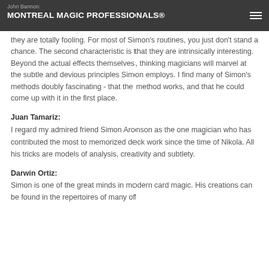MONTREAL MAGIC PROFESSIONALS®
they are totally fooling. For most of Simon's routines, you just don't stand a chance. The second characteristic is that they are intrinsically interesting. Beyond the actual effects themselves, thinking magicians will marvel at the subtle and devious principles Simon employs. I find many of Simon's methods doubly fascinating - that the method works, and that he could come up with it in the first place.
Juan Tamariz:
I regard my admired friend Simon Aronson as the one magician who has contributed the most to memorized deck work since the time of Nikola. All his tricks are models of analysis, creativity and subtlety.
Darwin Ortiz:
Simon is one of the great minds in modern card magic. His creations can be found in the repertoires of many of